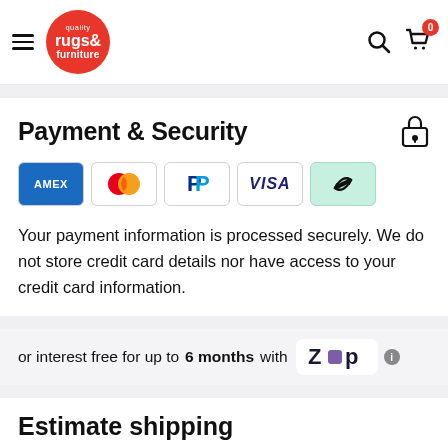quality rugs & furniture — navigation header with search and cart icons
Payment & Security
[Figure (logo): Payment method icons: Amex, Mastercard, PayPal, Visa, Afterpay/Cashrewards]
Your payment information is processed securely. We do not store credit card details nor have access to your credit card information.
or interest free for up to 6 months with Zip
Estimate shipping